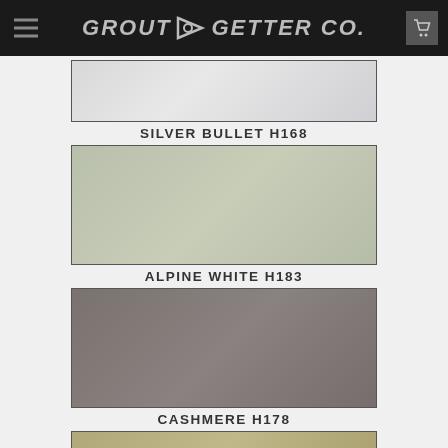GROUT GETTER CO.
SILVER BULLET H168
ALPINE WHITE H183
CASHMERE H178
[Figure (photo): Partial tan/khaki color swatch at bottom of page, cut off]